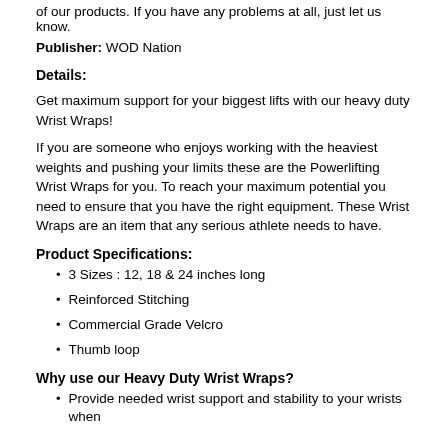of our products. If you have any problems at all, just let us know.
Publisher: WOD Nation
Details:
Get maximum support for your biggest lifts with our heavy duty Wrist Wraps!
If you are someone who enjoys working with the heaviest weights and pushing your limits these are the Powerlifting Wrist Wraps for you. To reach your maximum potential you need to ensure that you have the right equipment. These Wrist Wraps are an item that any serious athlete needs to have.
Product Specifications:
3 Sizes : 12, 18 & 24 inches long
Reinforced Stitching
Commercial Grade Velcro
Thumb loop
Why use our Heavy Duty Wrist Wraps?
Provide needed wrist support and stability to your wrists when